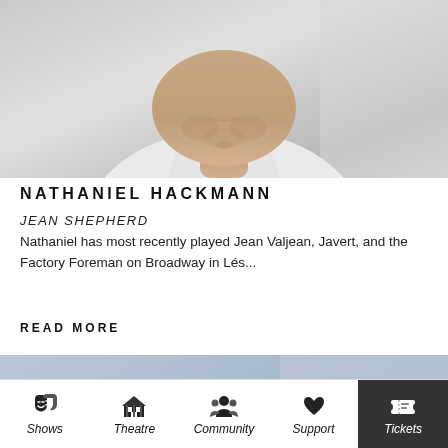[Figure (photo): Partial headshot of a man (Nathaniel Hackmann), showing chin and lower face with white shirt, gray background]
NATHANIEL HACKMANN
JEAN SHEPHERD
Nathaniel has most recently played Jean Valjean, Javert, and the Factory Foreman on Broadway in Lés...
READ MORE
[Figure (photo): Headshot of a young woman with long brown hair with bangs, smiling, blue background]
Shows  Theatre  Community  Support  Tickets